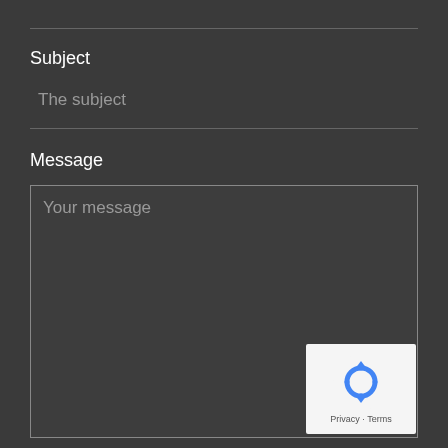Subject
The subject
Message
Your message
[Figure (logo): Google reCAPTCHA badge with recycling arrow logo icon and 'Privacy - Terms' text]